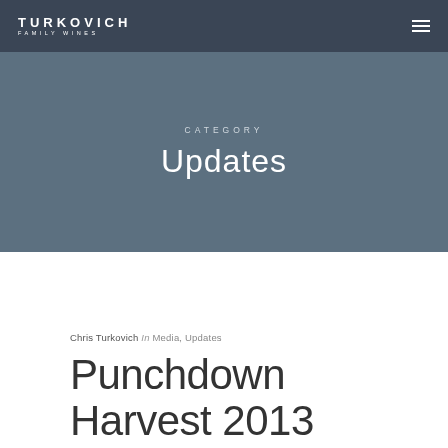TURKOVICH FAMILY WINES
CATEGORY
Updates
Chris Turkovich In Media, Updates
Punchdown Harvest 2013